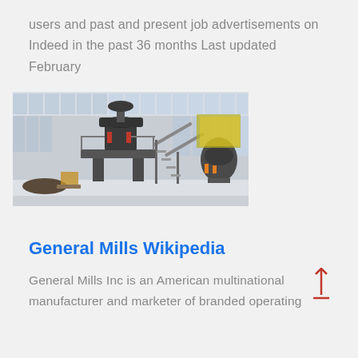users and past and present job advertisements on Indeed in the past 36 months Last updated February
[Figure (photo): Industrial factory floor with large cone crusher equipment, metal staircases, and warehouse windows in the background.]
General Mills Wikipedia
General Mills Inc is an American multinational manufacturer and marketer of branded operating